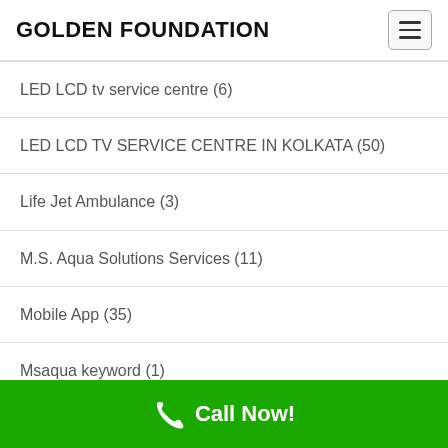GOLDEN FOUNDATION
LED LCD tv service centre (6)
LED LCD TV SERVICE CENTRE IN KOLKATA (50)
Life Jet Ambulance (3)
M.S. Aqua Solutions Services (11)
Mobile App (35)
Msaqua keyword (1)
news portal website design (1)
Positive Think (1)
Call Now!